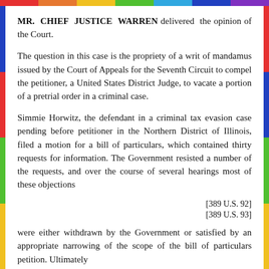MR. CHIEF JUSTICE WARREN delivered the opinion of the Court.
The question in this case is the propriety of a writ of mandamus issued by the Court of Appeals for the Seventh Circuit to compel the petitioner, a United States District Judge, to vacate a portion of a pretrial order in a criminal case.
Simmie Horwitz, the defendant in a criminal tax evasion case pending before petitioner in the Northern District of Illinois, filed a motion for a bill of particulars, which contained thirty requests for information. The Government resisted a number of the requests, and over the course of several hearings most of these objections
[389 U.S. 92]
[389 U.S. 93]
were either withdrawn by the Government or satisfied by an appropriate narrowing of the scope of the bill of particulars petition. Ultimately,